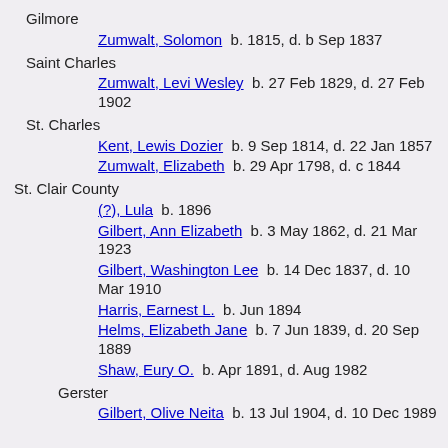Gilmore
Zumwalt, Solomon  b. 1815, d. b Sep 1837
Saint Charles
Zumwalt, Levi Wesley  b. 27 Feb 1829, d. 27 Feb 1902
St. Charles
Kent, Lewis Dozier  b. 9 Sep 1814, d. 22 Jan 1857
Zumwalt, Elizabeth  b. 29 Apr 1798, d. c 1844
St. Clair County
(?), Lula  b. 1896
Gilbert, Ann Elizabeth  b. 3 May 1862, d. 21 Mar 1923
Gilbert, Washington Lee  b. 14 Dec 1837, d. 10 Mar 1910
Harris, Earnest L.  b. Jun 1894
Helms, Elizabeth Jane  b. 7 Jun 1839, d. 20 Sep 1889
Shaw, Eury O.  b. Apr 1891, d. Aug 1982
Gerster
Gilbert, Olive Neita  b. 13 Jul 1904, d. 10 Dec 1989